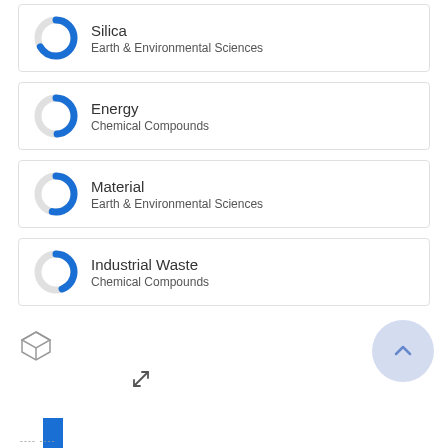Silica / Earth & Environmental Sciences
Energy / Chemical Compounds
Material / Earth & Environmental Sciences
Industrial Waste / Chemical Compounds
[Figure (other): Navigation next button with right chevron arrow, dark blue border]
[Figure (other): Bottom section with cube icon, resize arrows icon, circular up-arrow button, and partial bar chart at bottom]